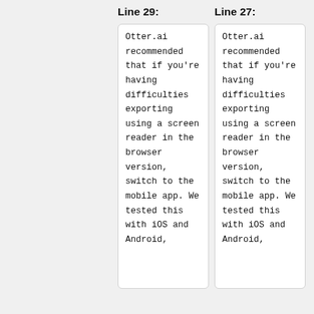Line 29:
Line 27:
Otter.ai recommended that if you’re having difficulties exporting using a screen reader in the browser version, switch to the mobile app. We tested this with iOS and Android,
Otter.ai recommended that if you’re having difficulties exporting using a screen reader in the browser version, switch to the mobile app. We tested this with iOS and Android,